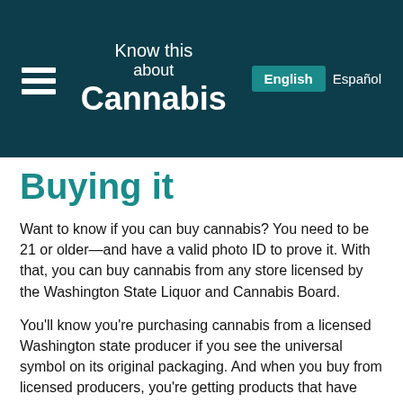Know this about Cannabis
Buying it
Want to know if you can buy cannabis? You need to be 21 or older—and have a valid photo ID to prove it. With that, you can buy cannabis from any store licensed by the Washington State Liquor and Cannabis Board.
You'll know you're purchasing cannabis from a licensed Washington state producer if you see the universal symbol on its original packaging. And when you buy from licensed producers, you're getting products that have been tested for quality assurance—protecting you from synthetic or